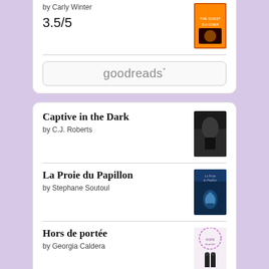by Carly Winter
3.5/5
[Figure (logo): Goodreads button/logo]
Captive in the Dark
by C.J. Roberts
[Figure (photo): Book cover: Captive in the Dark]
La Proie du Papillon
by Stephane Soutoul
[Figure (photo): Book cover: La Proie du Papillon]
Hors de portée
by Georgia Caldera
[Figure (photo): Book cover: Hors de portée]
[Figure (logo): Goodreads button/logo (partial)]